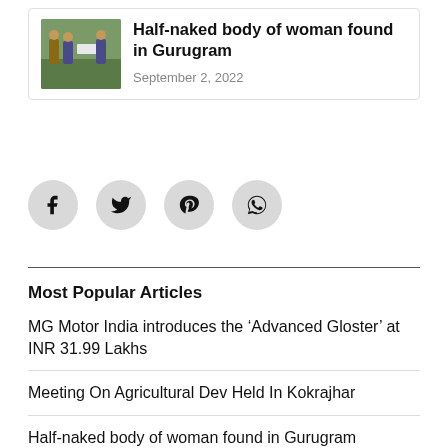[Figure (photo): Thumbnail image of police officers carrying a body on a stretcher in a field]
Half-naked body of woman found in Gurugram
September 2, 2022
[Figure (infographic): Social media share icons: Facebook, Twitter, Pinterest, WhatsApp]
Most Popular Articles
MG Motor India introduces the ‘Advanced Gloster’ at INR 31.99 Lakhs
Meeting On Agricultural Dev Held In Kokrajhar
Half-naked body of woman found in Gurugram
Have a look at Sara’s Ganesh Chaturthi celebrations